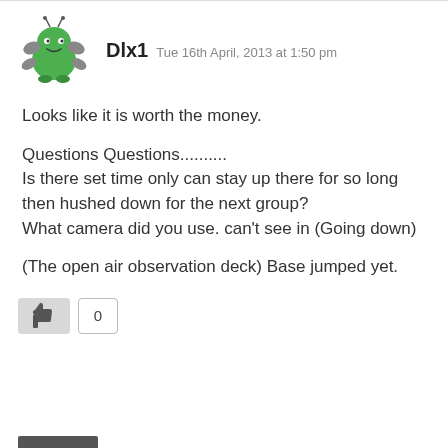[Figure (illustration): Green cartoon monster avatar with wings and antennae]
Dlx1  Tue 16th April, 2013 at 1:50 pm
Looks like it is worth the money.
Questions Questions..........
Is there set time only can stay up there for so long then hushed down for the next group?
What camera did you use. can't see in (Going down)
(The open air observation deck) Base jumped yet.
[Figure (other): Like button with thumbs up icon and count box showing 0]